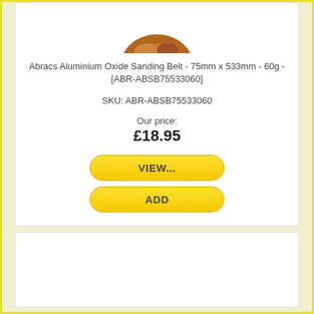[Figure (photo): Partial view of a sanding belt product image (brown/orange colored belt), cropped at top]
Abracs Aluminium Oxide Sanding Belt - 75mm x 533mm - 60g - [ABR-ABSB75533060]
SKU: ABR-ABSB75533060
Our price: £18.95